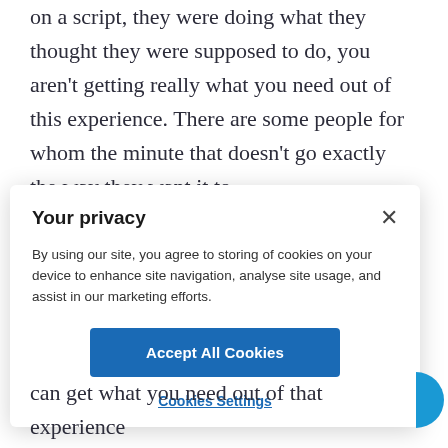on a script, they were doing what they thought they were supposed to do, you aren't getting really what you need out of this experience. There are some people for whom the minute that doesn't go exactly the way they want it to
[Figure (screenshot): A cookie consent modal dialog with title 'Your privacy', body text about cookie usage, an 'Accept All Cookies' button, and a 'Cookies Settings' link.]
can get what you need out of that experience